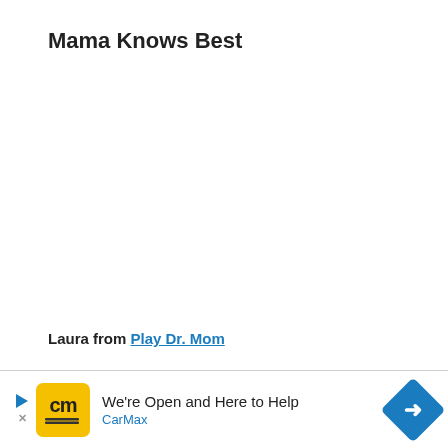Mama Knows Best
Laura from Play Dr. Mom
Best Pregnancy or Birth Advice   Every
body
[Figure (infographic): CarMax advertisement banner at the bottom of the page with yellow CM logo, text 'We're Open and Here to Help' and 'CarMax', a play button triangle, an X close button, and a blue diamond-shaped arrow icon on the right.]